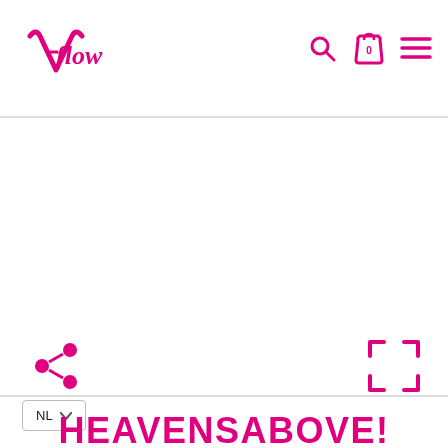[Figure (logo): V-flow logo in magenta/pink cursive script with a stylized V]
[Figure (screenshot): Navigation icons: search (magnifying glass), shopping bag with 0, and hamburger menu — all in magenta/pink]
[Figure (screenshot): Large white product image area (blank/empty)]
[Figure (screenshot): Share icon (three connected dots) in magenta, bottom-left of image area]
[Figure (screenshot): Expand/fullscreen icon in magenta, bottom-right of image area]
NL
HEAVENSABOVE!